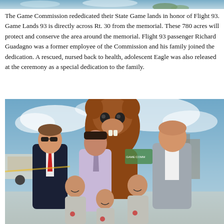[Figure (photo): Top portion of a photo visible at the very top of the page showing sky and some greenery]
The Game Commission rededicated their State Game lands in honor of Flight 93. Game Lands 93 is directly across Rt. 30 from the memorial. These 780 acres will protect and conserve the area around the memorial. Flight 93 passenger Richard Guadagno was a former employee of the Commission and his family joined the dedication. A rescued, nursed back to health, adolescent Eagle was also released at the ceremony as a special dedication to the family.
[Figure (photo): Group photo showing three adults and three children posing with a beaver mascot costume outdoors. The man on the left wears a dark suit with a red tie. The man in the center wears a light purple dress shirt. The man on the right wears a gray suit. Three boys in gray t-shirts stand in front. A large brown beaver mascot stands behind the group.]